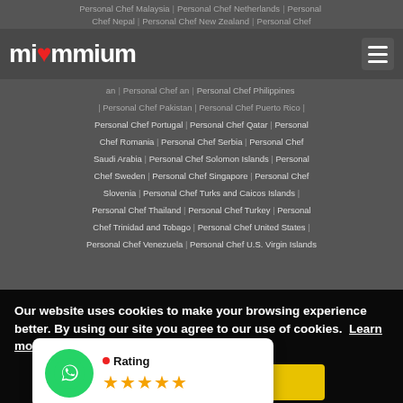miummium logo and navigation
Personal Chef Malaysia | Personal Chef Netherlands | Personal Chef Nepal | Personal Chef New Zealand | Personal Chef Philippines | Personal Chef Pakistan | Personal Chef Puerto Rico | Personal Chef Portugal | Personal Chef Qatar | Personal Chef Romania | Personal Chef Serbia | Personal Chef Saudi Arabia | Personal Chef Solomon Islands | Personal Chef Sweden | Personal Chef Singapore | Personal Chef Slovenia | Personal Chef Turks and Caicos Islands | Personal Chef Thailand | Personal Chef Turkey | Personal Chef Trinidad and Tobago | Personal Chef United States | Personal Chef Venezuela | Personal Chef U.S. Virgin Islands
Our website uses cookies to make your browsing experience better. By using our site you agree to our use of cookies. Learn more
Yes
[Figure (logo): WhatsApp icon in green circle with speech bubble]
Rating ★★★★★
Algrange | Allauch | Angers | Anglet | Angoulême | Annecy | Annecy